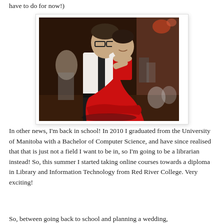have to do for now!)
[Figure (photo): A man in a white shirt and black tie dancing with a woman in a red ball gown at what appears to be a formal event or wedding reception.]
In other news, I'm back in school! In 2010 I graduated from the University of Manitoba with a Bachelor of Computer Science, and have since realised that that is just not a field I want to be in, so I'm going to be a librarian instead! So, this summer I started taking online courses towards a diploma in Library and Information Technology from Red River College. Very exciting!
So, between going back to school and planning a wedding,